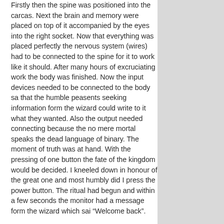Firstly then the spine was positioned into the carcas. Next the brain and memory were placed on top of it accompanied by the eyes into the right socket. Now that everything was placed perfectly the nervous system (wires) had to be connected to the spine for it to work like it should. After many hours of excruciating work the body was finished. Now the input devices needed to be connected to the body sa that the humble peasents seeking information form the wizard could write to it what they wanted. Also the output needed connecting because the no mere mortal speaks the dead language of binary. The moment of truth was at hand. With the pressing of one button the fate of the kingdom would be decided. I kneeled down in honour of the great one and most humbly did I press the power button. The ritual had begun and within a few seconds the monitor had a message form the wizard which sai “Welcome back”.
I now summoned the little goblin who had started this epic tale in the first place and let her communicate with the new wizard. She was speechless at the new great ones